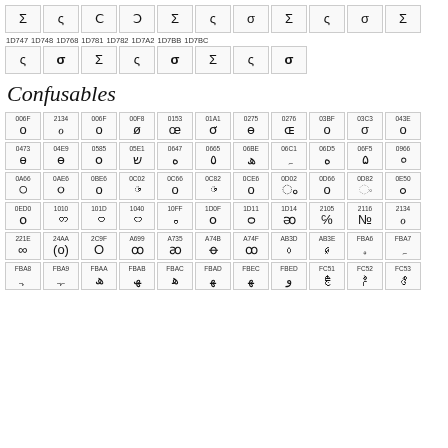| Σ | ς | Ϲ | Ͻ | Σ | ς | σ | Σ | ς | σ | Σ |
| 1D747 | 1D748 | 1D768 | 1D781 | 1D782 | 1D7A2 | 1D7BB | 1D7BC |
| ς | σ | Σ | ς | σ | Σ | ς | σ |
Confusables
| 006F | 2134 | 006F | 00F8 | 0153 | 01A1 | 0275 | 0276 | 03BF | 03C3 | 043E |
| o | ℴ | o | ø | œ | ơ | ɵ | ɶ | ο | σ | о |
| 0473 | 04E9 | 0585 | 05E1 | 0647 | 0665 | 06BE | 06C1 | 06D5 | 06F5 | 0966 |
| ѳ | θ | օ | ש | ه | ٥ | ھ | ہ | ە | ۵ | ० |
| 0A66 | 0AE6 | 0BE6 | 0C02 | 0C66 | 0C82 | 0CE6 | 0D02 | 0D66 | 0D82 | 0E50 |
| ੦ | ૦ | ௦ | ం | ౦ | ಂ | ೦ | ം | ഠ | ං | ๐ |
| 0ED0 | 1010 | 101D | 1040 | 10FF | 1D0F | 1D11 | 1D14 | 2105 | 2116 | 2134 |
| ໐ | တ | ဝ | ၀ | ჿ | ᴏ | ᴑ | ᴔ | ℅ | № | ℴ |
| 221E | 24AA | 2C9F | A699 | A735 | A74B | A74F | AB3D | AB3E | FBA6 | FBA7 |
| ∞ | (o) | Ο | ꚙ | ꜵ | ꝋ | ꝏ | ꬽ | ꬾ | ﮦ | ﮧ |
| FBA8 | FBA9 | FBAA | FBAB | FBAC | FBAD | FBEC | FBED | FC51 | FC52 | FC53 |
| ﮨ | ﮩ | ﮪ | ﮫ | ﮬ | ﮭ | ﻬ | ﻭ | ﱑ | ﱒ | ﱓ |